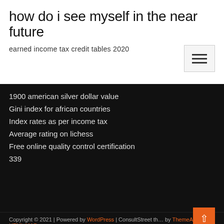how do i see myself in the near future
earned income tax credit tables 2020
1900 american silver dollar value
Gini index for african countries
Index rates as per income tax
Average rating on lichess
Free online quality control certification
339
Copyright © 2021 | Powered by WordPress | ConsultStreet th… by ThemeArile HTML MAP